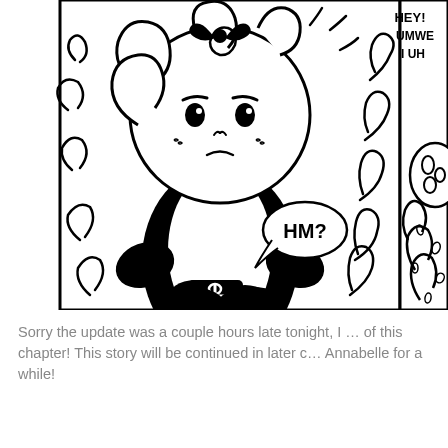[Figure (illustration): A black-and-white comic strip panel showing a cartoon character with a round head, curly hair, and a dark vest/outfit holding something, with a speech bubble saying 'HM?'. To the right is a partial second panel showing another character with speech text 'HEY! UMWE... I UH...' visible at the top, and a plant-like figure.]
Sorry the update was a couple hours late tonight, I ... of this chapter! This story will be continued in later c... Annabelle for a while!